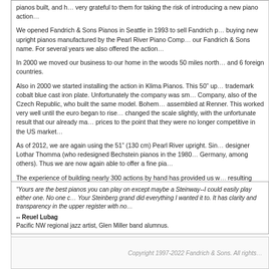pianos built, and h... very grateful to them for taking the risk of introducing a new piano action...
We opened Fandrich & Sons Pianos in Seattle in 1993 to sell Fandrich p... buying new upright pianos manufactured by the Pearl River Piano Comp... our Fandrich & Sons name. For several years we also offered the action...
In 2000 we moved our business to our home in the woods 50 miles north... and 6 foreign countries.
Also in 2000 we started installing the action in Klima Pianos. This 50" up... trademark cobalt blue cast iron plate. Unfortunately the company was sm... Company, also of the Czech Republic, who built the same model. Bohem... assembled at Renner. This worked very well until the euro began to rise... changed the scale slightly, with the unfortunate result that our already ma... prices to the point that they were no longer competitive in the US market.
As of 2012, we are again using the 51" (130 cm) Pearl River upright. Sin... designer Lothar Thomma (who redesigned Bechstein pianos in the 1980... Germany, among others). Thus we are now again able to offer a fine pia...
The experience of building nearly 300 actions by hand has provided us w... resulting refinement features significantly improved performance, parts d... page for regulation procedures and tools for FVA maintenance)
After having solved the one aspect of the action performance with which... improvement patent application in July of 2013 for the Fandrich Vertical A... grand piano. The result is that playing the FVA™ is now virtually indisting...
The reaction to this improved action, now offered in our Fandrich & Sons... Those who are familiar with the original version notice a definite improve...
"Yours are the best pianos you can play on except maybe a Steinway--I could easily play either one. No one c... Your Steinberg grand did everything I wanted it to. It has clarity and transparency in the upper register with no...
-- Reuel Lubag
Pacific NW regional jazz artist, Glen Miller band alumnus.
Copyright 1997-2022 Fandrich & Sons. All rights...